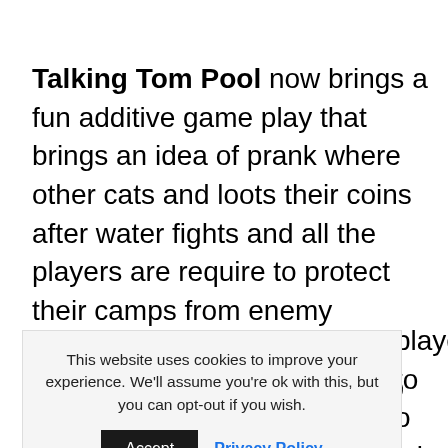Talking Tom Pool now brings a fun additive game play that brings an idea of prank where other cats and loots their coins after water fights and all the players are require to protect their camps from enemy attacks and defend their gold and all the characters level up after successful battles. You can also link this game players to o join Talking Talking Ben, ng water n ultimate pool party for everybody. Set ready to bounce.
This website uses cookies to improve your experience. We'll assume you're ok with this, but you can opt-out if you wish. Accept | Privacy Policy